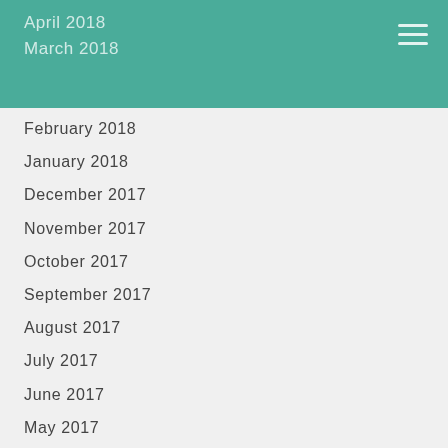April 2018
March 2018
February 2018
January 2018
December 2017
November 2017
October 2017
September 2017
August 2017
July 2017
June 2017
May 2017
April 2017
March 2017
February 2017
January 2017
July 2016
June 2016
May 2016
April 2016
March 2016